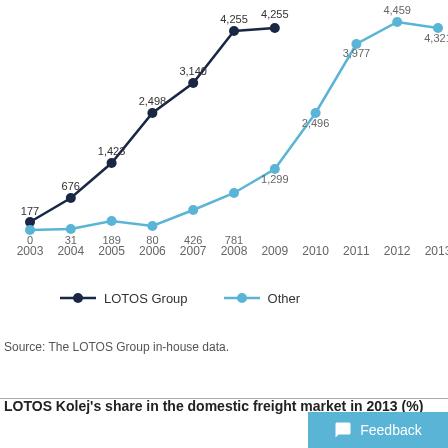[Figure (line-chart): ]
Source: The LOTOS Group in-house data.
LOTOS Kolej's share in the domestic freight market in 2013 (%)